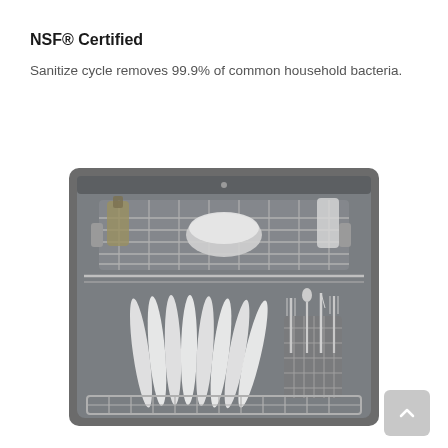NSF® Certified
Sanitize cycle removes 99.9% of common household bacteria.
[Figure (photo): Interior view of an open dishwasher showing the top rack loaded with cups, bowls, and bottles, and the bottom rack filled with plates and a cutlery basket containing forks and spoons.]